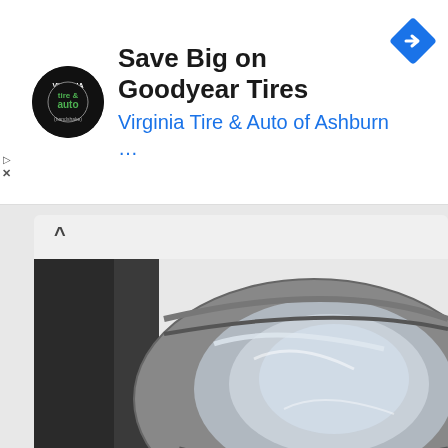[Figure (logo): Virginia Tire & Auto circular logo with black background, green and white text]
Save Big on Goodyear Tires
Virginia Tire & Auto of Ashburn …
[Figure (photo): Close-up photograph of a car headlight with chrome reflector housing on white car body, dark background on left]
Get Lit With Adaptive Headlights
A Solution to Blinding Car